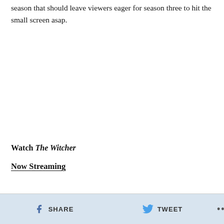season that should leave viewers eager for season three to hit the small screen asap.
Watch The Witcher
Now Streaming